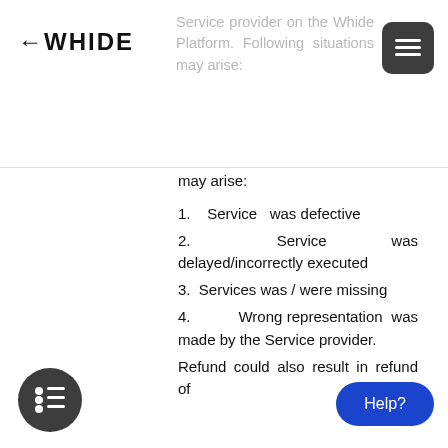WHIDE — Service provider on the Whide Platform. Following situations may arise:
1. Service was defective
2. Service was delayed/incorrectly executed
3. Services was / were missing
4. Wrong representation was made by the Service provider.
Refund could also result in refund of